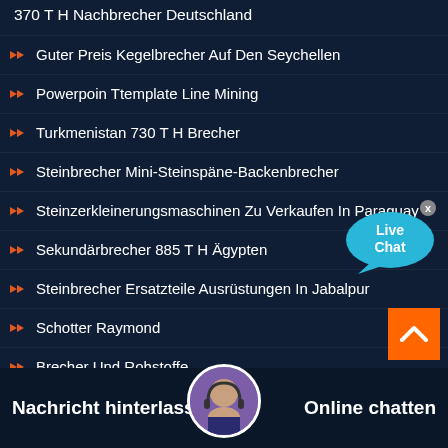370 T H Nachbrecher Deutschland
Guter Preis Kegelbrecher Auf Den Seychellen
Powerpoin Ttemplate Line Mining
Turkmenistan 730 T H Brecher
Steinbrecher Mini-Steinspäne-Backenbrecher
Steinzerkleinerungsmaschinen Zu Verkaufen In Paraguay
Sekundärbrecher 885 T H Ägypten
Steinbrecher Ersatzteile Ausrüstungen In Jabalpur
Schotter Raymond
Brecher Und Rohstoffe
[Figure (illustration): Live Chat speech bubble icon in cyan/blue color with 'Live Chat' text and a close X button]
[Figure (illustration): Orange scroll-to-top button with upward chevron arrow]
Nachricht hinterlassen   Online chatten